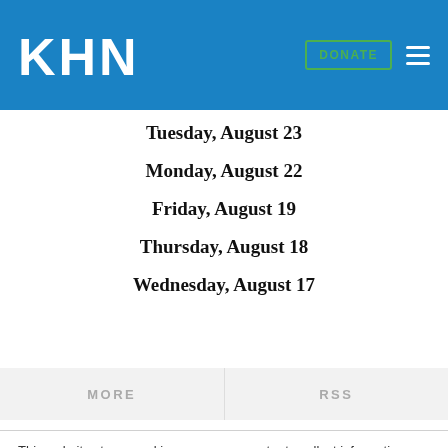KHN | DONATE
Tuesday, August 23
Monday, August 22
Friday, August 19
Thursday, August 18
Wednesday, August 17
MORE | RSS
This website stores cookies on your computer to collect information about how you interact with our website. We use this information in order to improve and customize your browsing experience and for analytics and metrics about our visitors both on this website and other media. To find out more about the cookies we use, see our Privacy Policy.
Accept